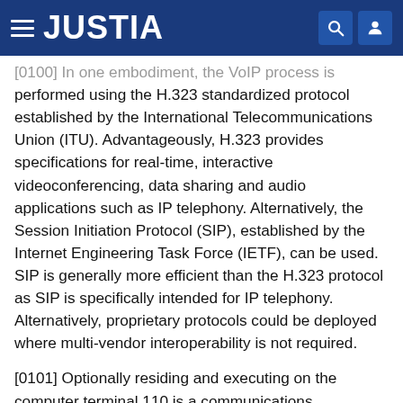JUSTIA
[0100] In one embodiment, the VoIP process is performed using the H.323 standardized protocol established by the International Telecommunications Union (ITU). Advantageously, H.323 provides specifications for real-time, interactive videoconferencing, data sharing and audio applications such as IP telephony. Alternatively, the Session Initiation Protocol (SIP), established by the Internet Engineering Task Force (IETF), can be used. SIP is generally more efficient than the H.323 protocol as SIP is specifically intended for IP telephony. Alternatively, proprietary protocols could be deployed where multi-vendor interoperability is not required.
[0101] Optionally residing and executing on the computer terminal 110 is a communications management Client application 116. The Client application 116 is used to provide enhanced